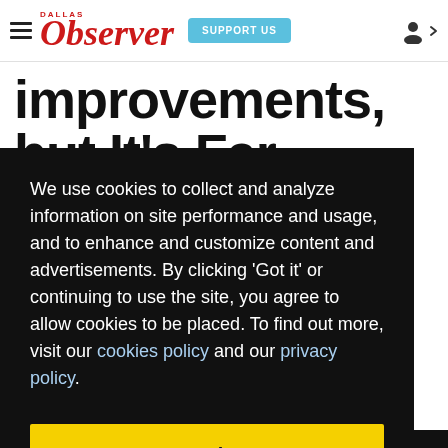Dallas Observer — SUPPORT US — [user icon]
improvements, but It's Far Behind Schedule
We use cookies to collect and analyze information on site performance and usage, and to enhance and customize content and advertisements. By clicking 'Got it' or continuing to use the site, you agree to allow cookies to be placed. To find out more, visit our cookies policy and our privacy policy.
Got it!